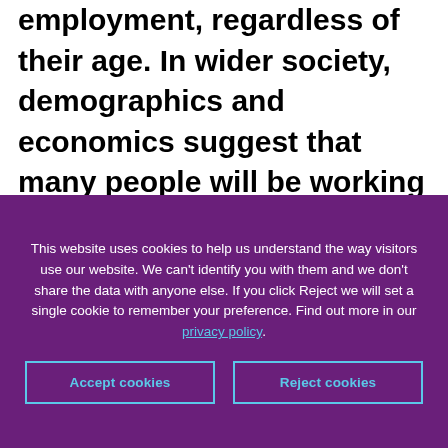employment, regardless of their age. In wider society, demographics and economics suggest that many people will be working throughout their later years. It is vital that when leaving the Armed Forces, at whatever age, that future employment is accessible, suitable and fulfilling.  That act of transition is successful for the majority of Service leavers, but there is a minority who have a more challenging experience.
This website uses cookies to help us understand the way visitors use our website. We can't identify you with them and we don't share the data with anyone else. If you click Reject we will set a single cookie to remember your preference. Find out more in our privacy policy.